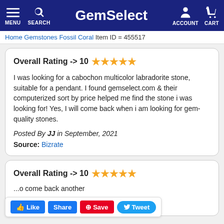GemSelect — MENU SEARCH ACCOUNT CART
Home > Gemstones > Fossil Coral > Item ID = 455517
Overall Rating -> 10 ★★★★★

I was looking for a cabochon multicolor labradorite stone, suitable for a pendant. I found gemselect.com & their computerized sort by price helped me find the stone i was looking for! Yes, I will come back when i am looking for gem-quality stones.

Posted By JJ in September, 2021

Source: Bizrate
Overall Rating -> 10 ★★★★★

...o come back another...